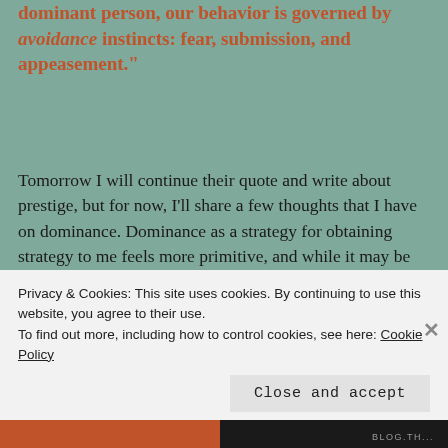dominant person, our behavior is governed by avoidance instincts: fear, submission, and appeasement."
Tomorrow I will continue their quote and write about prestige, but for now, I'll share a few thoughts that I have on dominance. Dominance as a strategy for obtaining strategy to me feels more primitive, and while it may be the kind of status we often seek in sports, courts, and boardrooms, it is not the kind of status that usually seems to be the most effective. In a politicized world where many weaker individuals can gang up on the stronger more dominant individual, this path can be
Privacy & Cookies: This site uses cookies. By continuing to use this website, you agree to their use.
To find out more, including how to control cookies, see here: Cookie Policy
Close and accept